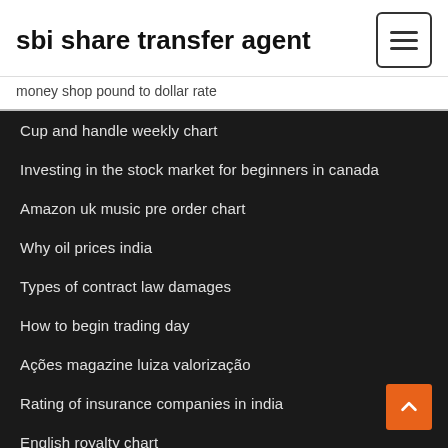sbi share transfer agent
money shop pound to dollar rate
Cup and handle weekly chart
Investing in the stock market for beginners in canada
Amazon uk music pre order chart
Why oil prices india
Types of contract law damages
How to begin trading day
Ações magazine luiza valorização
Rating of insurance companies in india
English royalty chart
Interest rate tax shield